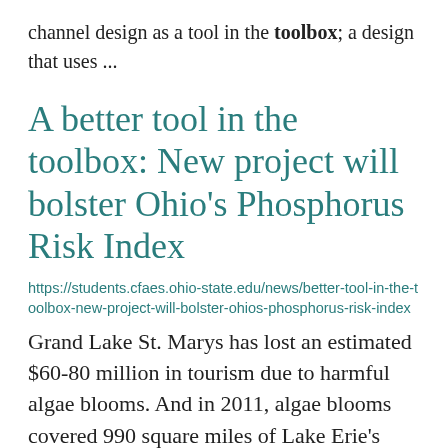channel design as a tool in the toolbox; a design that uses ...
A better tool in the toolbox: New project will bolster Ohio's Phosphorus Risk Index
https://students.cfaes.ohio-state.edu/news/better-tool-in-the-toolbox-new-project-will-bolster-ohios-phosphorus-risk-index
Grand Lake St. Marys has lost an estimated $60-80 million in tourism due to harmful algae blooms. And in 2011, algae blooms covered 990 square miles of Lake Erie's surface area, the largest in the lake's history. Phosphorus is the pollutant most